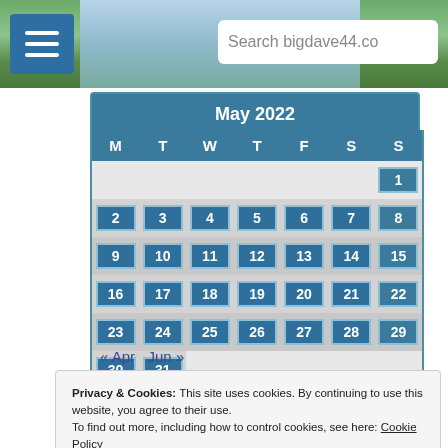[Figure (screenshot): Website header banner with landscape background photo, hamburger menu button on left, and search bar on right showing 'Search bigdave44.c']
| M | T | W | T | F | S | S |
| --- | --- | --- | --- | --- | --- | --- |
|  |  |  |  |  |  | 1 |
| 2 | 3 | 4 | 5 | 6 | 7 | 8 |
| 9 | 10 | 11 | 12 | 13 | 14 | 15 |
| 16 | 17 | 18 | 19 | 20 | 21 | 22 |
| 23 | 24 | 25 | 26 | 27 | 28 | 29 |
| 30 | 31 |  |  |  |  |  |
« Apr   Jun »
Privacy & Cookies: This site uses cookies. By continuing to use this website, you agree to their use. To find out more, including how to control cookies, see here: Cookie Policy
Close and accept
Toughie 2906
DT 30068